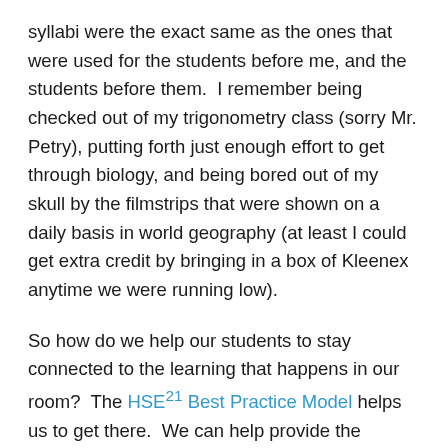syllabi were the exact same as the ones that were used for the students before me, and the students before them.  I remember being checked out of my trigonometry class (sorry Mr. Petry), putting forth just enough effort to get through biology, and being bored out of my skull by the filmstrips that were shown on a daily basis in world geography (at least I could get extra credit by bringing in a box of Kleenex anytime we were running low).
So how do we help our students to stay connected to the learning that happens in our room?  The HSE21 Best Practice Model helps us to get there.  We can help provide the relevance for our students to see why it’s important to learn whatever it is that we’re doing in our classroom.  We can give our students choices in how they express their learning.  We can push our students to ask questions and